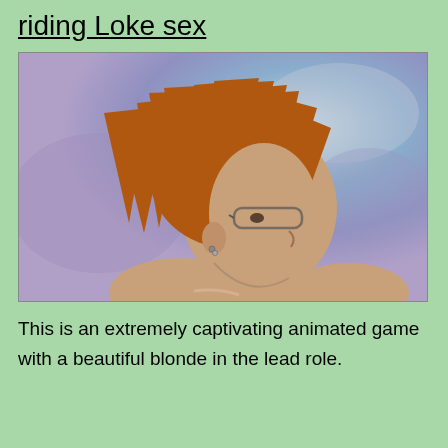riding Loke sex
[Figure (illustration): Anime-style illustration of a character with spiky orange-brown hair, wearing glasses, viewed from a side/back angle. The character appears shirtless with tan skin and small earrings. Background is a blurred blue-purple sky.]
This is an extremely captivating animated game with a beautiful blonde in the lead role.